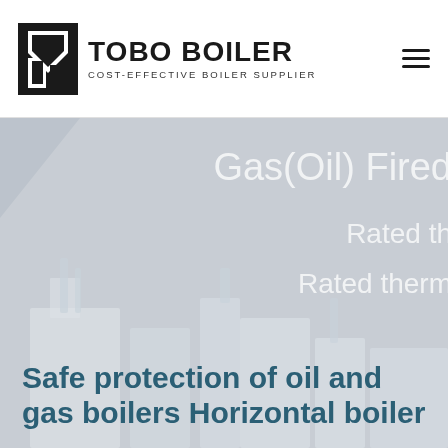[Figure (logo): Tobo Boiler logo with black geometric icon and bold text 'TOBO BOILER' with subtitle 'COST-EFFECTIVE BOILER SUPPLIER']
[Figure (photo): Hero banner with grey overlay showing industrial boiler equipment in background. Contains partial text 'Gas(Oil) Fired', 'Rated th...', 'Rated therm...' in light white text on grey background.]
Safe protection of oil and gas boilers Horizontal boiler